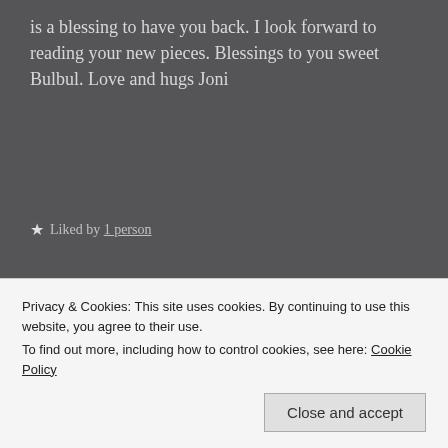is a blessing to have you back. I look forward to reading your new pieces. Blessings to you sweet Bulbul. Love and hugs Joni
★ Liked by 1 person
[Figure (logo): Bulbul's Bubble circular logo with 'BB' monogram on dark red background]
A.S.
March 28, 2020   Reply
Privacy & Cookies: This site uses cookies. By continuing to use this website, you agree to their use.
To find out more, including how to control cookies, see here: Cookie Policy
Close and accept